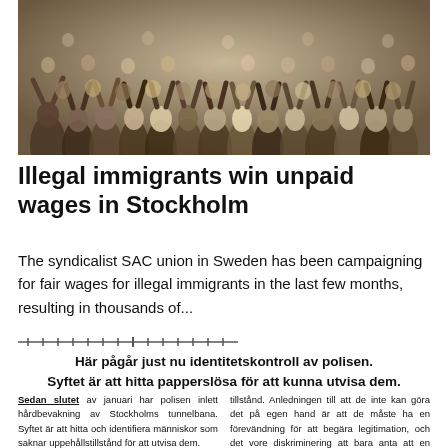[Figure (photo): Crowd of people, many raising hands, photographed outdoors in daylight.]
Illegal immigrants win unpaid wages in Stockholm
The syndicalist SAC union in Sweden has been campaigning for fair wages for illegal immigrants in the last few months, resulting in thousands of...
[Figure (other): Decorative divider line with barbed-wire or thorn-like appearance.]
Här pågår just nu identitetskontroll av polisen. Syftet är att hitta papperslösa för att kunna utvisa dem.
Sedan slutet av januari har polisen inlett hårdbevakning av Stockholms tunnelbana. Syftet är att hitta och identifiera människor som saknar uppehållstillstånd för att utvisa dem.
tillstånd. Anledningen till att de inte kan göra det på egen hand är att de måste ha en förevändning för att begära legitimation, och det vore diskriminering att bara anta att en mörkhyad person är i Sverige illegalt.